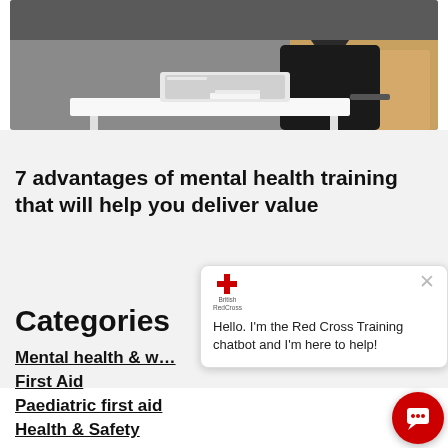[Figure (photo): Person sitting on couch working on a laptop computer, with a white table in the foreground]
7 advantages of mental health training that will help you deliver value
Categories
Mental health & w…
First Aid
Paediatric first aid
Health & Safety
See more
[Figure (screenshot): Red Cross Training chatbot popup showing British Red Cross logo, a close (X) button, and the message: Hello. I'm the Red Cross Training chatbot and I'm here to help!]